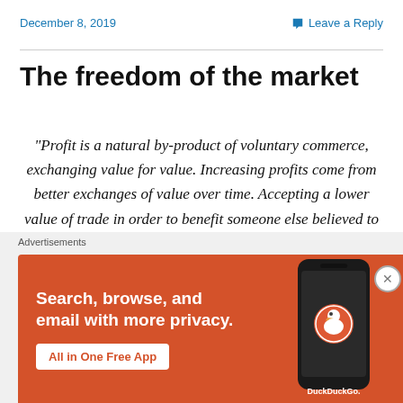December 8, 2019
Leave a Reply
The freedom of the market
“Profit is a natural by-product of voluntary commerce, exchanging value for value. Increasing profits come from better exchanges of value over time. Accepting a lower value of trade in order to benefit someone else believed to need the benefit is a myth. Self interest has always been a key component of human commerce…
[Figure (infographic): DuckDuckGo advertisement banner with orange background. Text reads: Search, browse, and email with more privacy. All in One Free App. Shows a phone mockup with DuckDuckGo logo.]